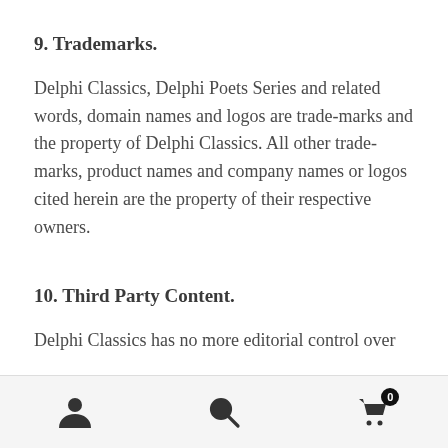9. Trademarks.
Delphi Classics, Delphi Poets Series and related words, domain names and logos are trade-marks and the property of Delphi Classics. All other trade-marks, product names and company names or logos cited herein are the property of their respective owners.
10. Third Party Content.
Delphi Classics has no more editorial control over
[navigation icons: person, search, cart (0)]